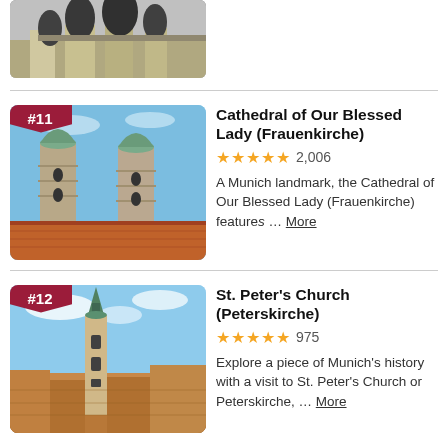[Figure (photo): Partial view of a sculpture/monument photo at top of page]
[Figure (photo): Cathedral of Our Blessed Lady (Frauenkirche) with twin towers and red rooftops, badge #11]
Cathedral of Our Blessed Lady (Frauenkirche)
★★★★★ 2,006
A Munich landmark, the Cathedral of Our Blessed Lady (Frauenkirche) features ... More
[Figure (photo): St. Peter's Church (Peterskirche) aerial view with green spire, badge #12]
St. Peter's Church (Peterskirche)
★★★★★ 975
Explore a piece of Munich's history with a visit to St. Peter's Church or Peterskirche, ... More